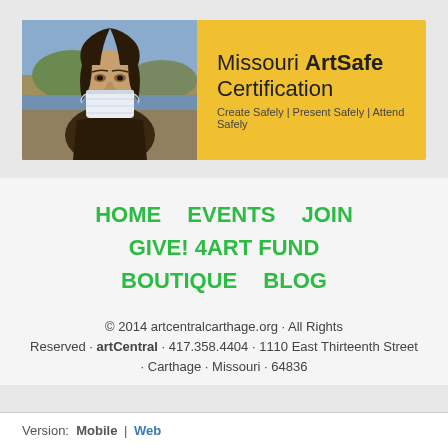[Figure (illustration): Banner with Mona Lisa painting wearing a surgical mask on the left, and yellow background on the right with text 'Missouri ArtSafe Certification' and subtitle 'Create Safely | Present Safely | Attend Safely']
HOME   EVENTS   JOIN   GIVE! 4ART FUND   BOUTIQUE   BLOG
© 2014 artcentralcarthage.org · All Rights Reserved · artCentral · 417.358.4404 · 1110 East Thirteenth Street · Carthage · Missouri · 64836
Version:  Mobile | Web